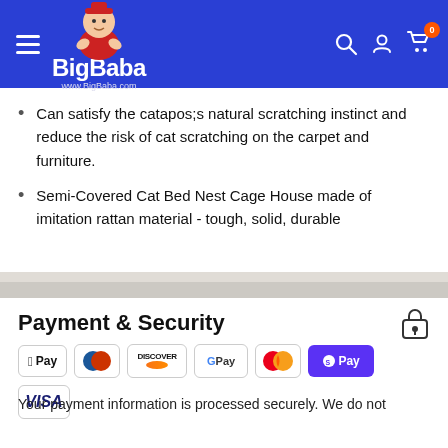BigBaba www.BigBaba.com
Can satisfy the catapos;s natural scratching instinct and reduce the risk of cat scratching on the carpet and furniture.
Semi-Covered Cat Bed Nest Cage House made of imitation rattan material - tough, solid, durable
Payment & Security
[Figure (other): Payment method logos: Apple Pay, Diners Club, Discover, Google Pay, Mastercard, Shop Pay, Visa]
Your payment information is processed securely. We do not